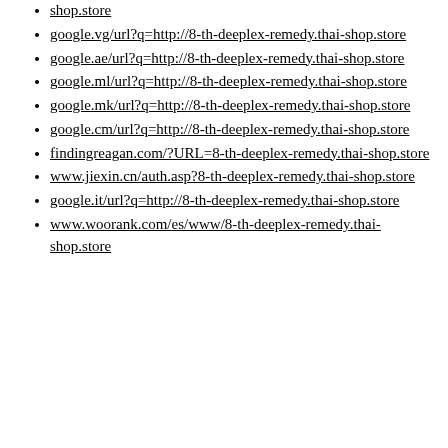shop.store
google.vg/url?q=http://8-th-deeplex-remedy.thai-shop.store
google.ae/url?q=http://8-th-deeplex-remedy.thai-shop.store
google.ml/url?q=http://8-th-deeplex-remedy.thai-shop.store
google.mk/url?q=http://8-th-deeplex-remedy.thai-shop.store
google.cm/url?q=http://8-th-deeplex-remedy.thai-shop.store
findingreagan.com/?URL=8-th-deeplex-remedy.thai-shop.store
www.jiexin.cn/auth.asp?8-th-deeplex-remedy.thai-shop.store
google.it/url?q=http://8-th-deeplex-remedy.thai-shop.store
www.woorank.com/es/www/8-th-deeplex-remedy.thai-shop.store